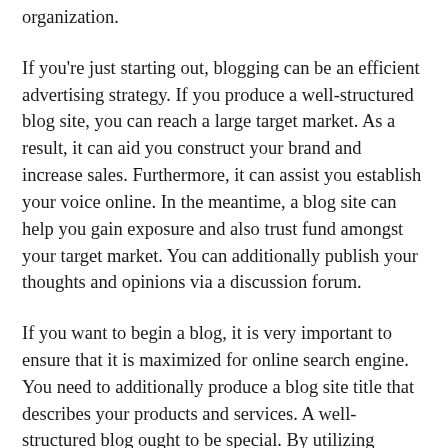organization.
If you're just starting out, blogging can be an efficient advertising strategy. If you produce a well-structured blog site, you can reach a large target market. As a result, it can aid you construct your brand and increase sales. Furthermore, it can assist you establish your voice online. In the meantime, a blog site can help you gain exposure and also trust fund amongst your target market. You can additionally publish your thoughts and opinions via a discussion forum.
If you want to begin a blog, it is very important to ensure that it is maximized for online search engine. You need to additionally produce a blog site title that describes your products and services. A well-structured blog ought to be special. By utilizing keyword research, you can find a keyword-optimized niche. This is a great means to bring in targeted web traffic. Lastly, you can publish your posts on various websites. There are countless means to use a blog to promote your